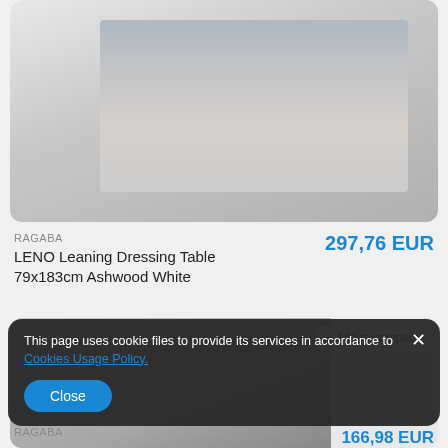[Figure (photo): Product photo of LENO Leaning Dressing Table, showing a white dressing table with mirror against a white wall, with plants and a pink stool]
RAGABA
LENO Leaning Dressing Table 79x183cm Ashwood White
297,76 EUR
[Figure (photo): Second product photo showing furniture against a white brick wall with plants and shelving unit]
+ Add to compare
This page uses cookie files to provide its services in accordance to Cookies Usage Policy.
Close
RAGABA
166,98 EUR